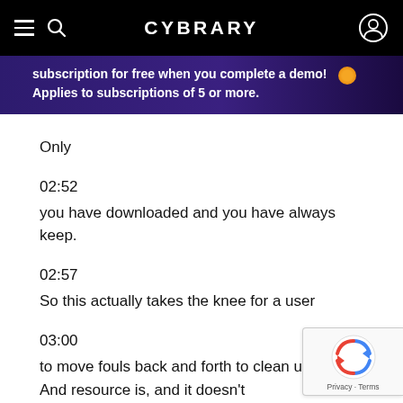CYBRARY
subscription for free when you complete a demo! Applies to subscriptions of 5 or more.
Only
02:52
you have downloaded and you have always keep.
02:57
So this actually takes the knee for a user
03:00
to move fouls back and forth to clean up space. And resource is, and it doesn't